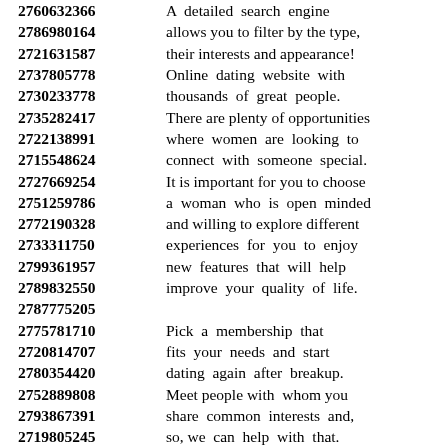2760632366 A detailed search engine
2786980164 allows you to filter by the type,
2721631587 their interests and appearance!
2737805778 Online dating website with
2730233778 thousands of great people.
2735282417 There are plenty of opportunities
2722138991 where women are looking to
2715548624 connect with someone special.
2727669254 It is important for you to choose
2751259786 a woman who is open minded
2772190328 and willing to explore different
2733311750 experiences for you to enjoy
2799361957 new features that will help
2789832550 improve your quality of life.
2787775205
2775781710 Pick a membership that
2720814707 fits your needs and start
2780354420 dating again after breakup.
2752889808 Meet people with whom you
2793867391 share common interests and,
2719805245 so, we can help with that.
2779435797 We are committed to helping
2730370535 singles find love and marriage.
2721705458 It's quick and easy to join
2715509586 which means you could be